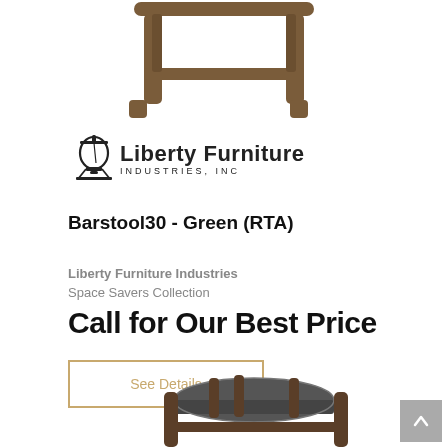[Figure (photo): Top portion of a wooden barstool with brown/walnut finish, showing the seat frame and legs from above, cropped at top of page]
[Figure (logo): Liberty Furniture Industries, Inc. logo with Liberty Bell icon and company name]
Barstool30 - Green (RTA)
Liberty Furniture Industries
Space Savers Collection
Call for Our Best Price
See Details
[Figure (photo): Bottom portion of a barstool with dark gray/charcoal upholstered seat and wood frame, partially visible at bottom of page]